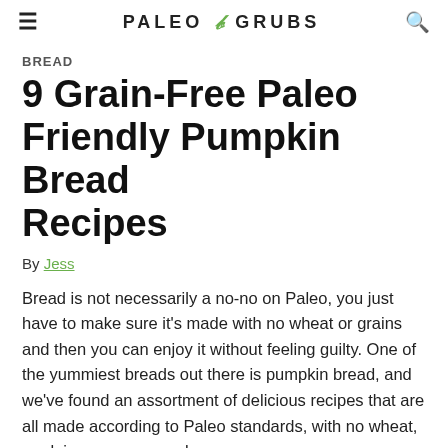PALEO GRUBS
BREAD
9 Grain-Free Paleo Friendly Pumpkin Bread Recipes
By Jess
Bread is not necessarily a no-no on Paleo, you just have to make sure it's made with no wheat or grains and then you can enjoy it without feeling guilty. One of the yummiest breads out there is pumpkin bread, and we've found an assortment of delicious recipes that are all made according to Paleo standards, with no wheat, no dairy, no sugar, and